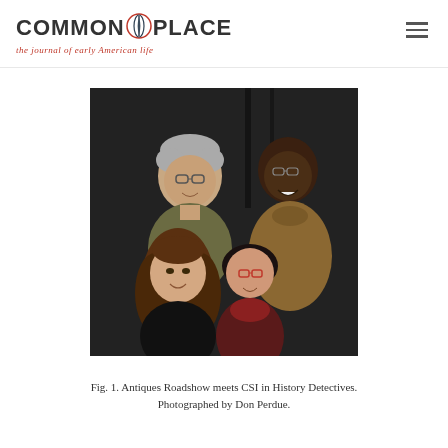COMMON PLACE — the journal of early American life
[Figure (photo): Group photo of four people (two men and two women) photographed from above looking up at the camera, in a dark setting. The image is associated with the PBS show History Detectives.]
Fig. 1. Antiques Roadshow meets CSI in History Detectives. Photographed by Don Perdue.